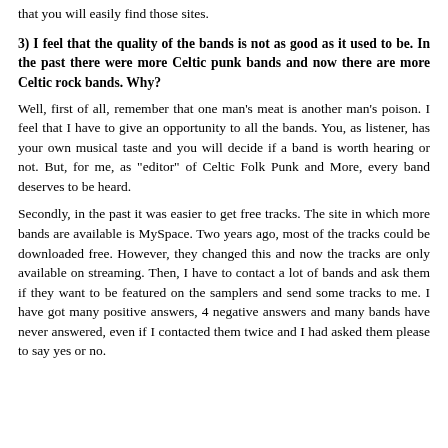that you will easily find those sites.
3) I feel that the quality of the bands is not as good as it used to be. In the past there were more Celtic punk bands and now there are more Celtic rock bands. Why?
Well, first of all, remember that one man's meat is another man's poison. I feel that I have to give an opportunity to all the bands. You, as listener, has your own musical taste and you will decide if a band is worth hearing or not. But, for me, as "editor" of Celtic Folk Punk and More, every band deserves to be heard.
Secondly, in the past it was easier to get free tracks. The site in which more bands are available is MySpace. Two years ago, most of the tracks could be downloaded free. However, they changed this and now the tracks are only available on streaming. Then, I have to contact a lot of bands and ask them if they want to be featured on the samplers and send some tracks to me. I have got many positive answers, 4 negative answers and many bands have never answered, even if I contacted them twice and I had asked them please to say yes or no.